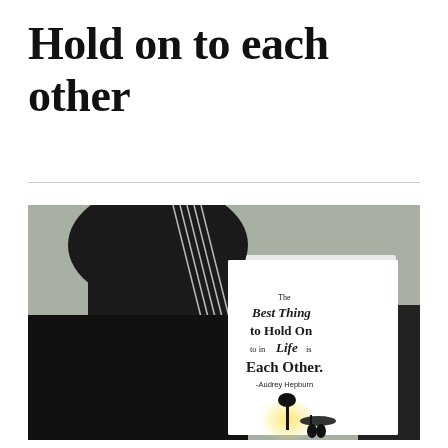Hold on to each other
[Figure (photo): Photo of a white greeting card propped against a dark mannequin head. The card displays an Audrey Hepburn quote in decorative typography: 'The Best Thing to Hold On to in Life is Each Other. -Audrey Hepburn'. At the bottom of the card is a yellow glow lamppost with a silhouette couple underneath an umbrella.]